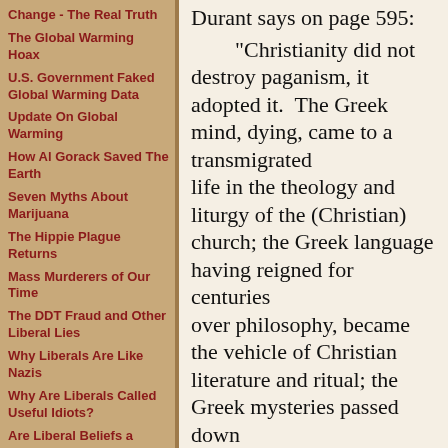Change - The Real Truth
The Global Warming Hoax
U.S. Government Faked Global Warming Data
Update On Global Warming
How Al Gorack Saved The Earth
Seven Myths About Marijuana
The Hippie Plague Returns
Mass Murderers of Our Time
The DDT Fraud and Other Liberal Lies
Why Liberals Are Like Nazis
Why Are Liberals Called Useful Idiots?
Are Liberal Beliefs a Form of Mental Illness?
Why American Schools Are So Inferior
How Public Schools Are Indoctrinating Students To Marxism
Durant says on page 595:
"Christianity did not destroy paganism, it adopted it.  The Greek mind, dying, came to a transmigrated life in the theology and liturgy of the (Christian) church; the Greek language having reigned for centuries over philosophy, became the vehicle of Christian literature and ritual; the Greek mysteries passed down into the impressive mystery of the Mass.  Other pagan cultures contributed to the syncretistic result.  From Egypt came the ideas of a divine trinity, the Last Judgment, and a personal immortality of reward and punishment; from Egypt the